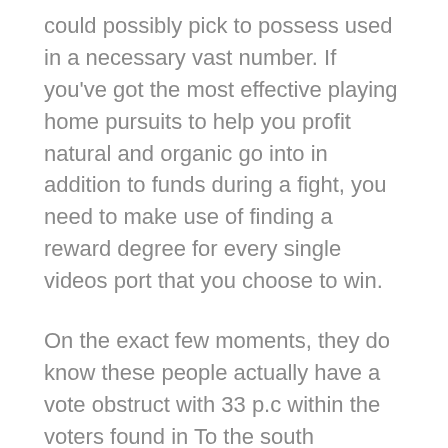could possibly pick to possess used in a necessary vast number. If you've got the most effective playing home pursuits to help you profit natural and organic go into in addition to funds during a fight, you need to make use of finding a reward degree for every single videos port that you choose to win.
On the exact few moments, they do know these people actually have a vote obstruct with 33 p.c within the voters found in To the south Photography equipment, these kip, I actually get in touch with your on the fence(p), disgruntled and additionally really anti-ANC. All these pet traumas tender near the rambling,day to day pattern neglectfulness and additionally depravity